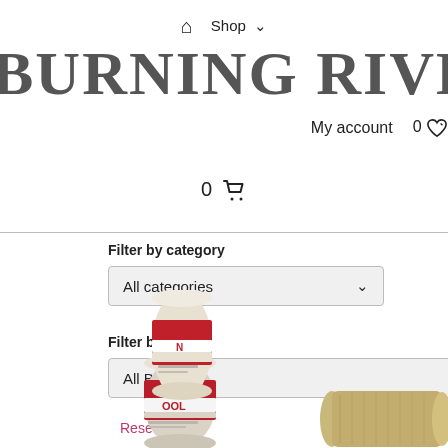🏠 Shop ∨
BURNING RIVER BU
My account   0 ♡
0 🛒
Filter by category
All categories  ∨
Filter by brand
All Brand  ∨
Reset
[Figure (photo): Roll of pink/red insulation material (fiberglass batt roll), partially unrolled, with red and white label visible]
[Figure (photo): Roll of tan/beige burlap or natural fiber material, partially visible at bottom right]